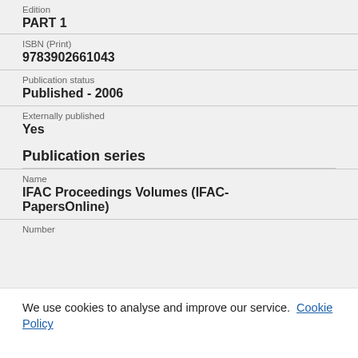Edition
PART 1
ISBN (Print)
9783902661043
Publication status
Published - 2006
Externally published
Yes
Publication series
Name
IFAC Proceedings Volumes (IFAC-PapersOnline)
Number
We use cookies to analyse and improve our service. Cookie Policy